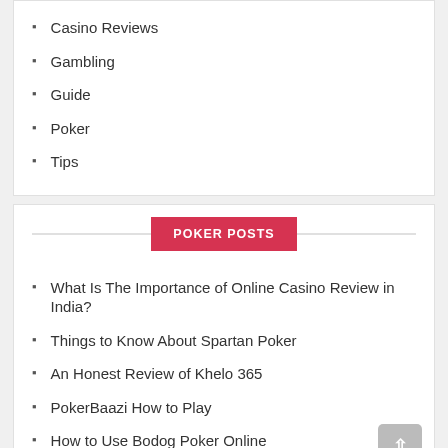Casino Reviews
Gambling
Guide
Poker
Tips
POKER POSTS
What Is The Importance of Online Casino Review in India?
Things to Know About Spartan Poker
An Honest Review of Khelo 365
PokerBaazi How to Play
How to Use Bodog Poker Online